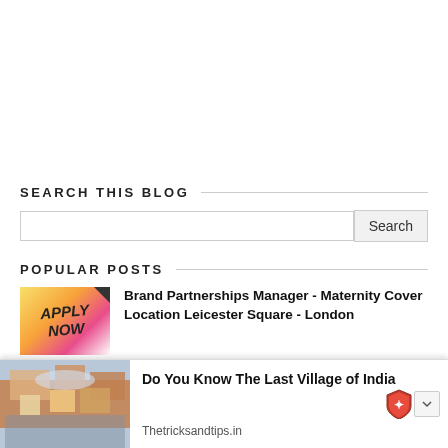SEARCH THIS BLOG
Search
POPULAR POSTS
[Figure (photo): Apply Now thumbnail image with colorful gradient background]
Brand Partnerships Manager - Maternity Cover Location Leicester Square - London
[Figure (photo): Colorful illustrated village photo - Last Village of India]
Do You Know The Last Village of India
Thetricksandtips.in